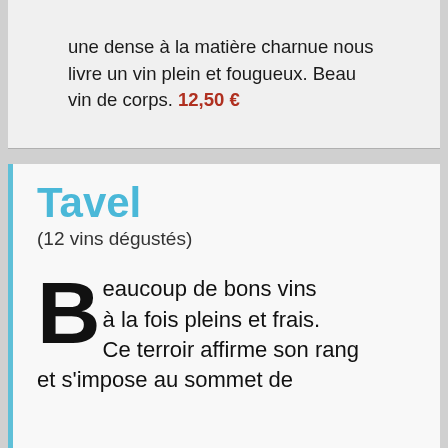une dense à la matière charnue nous livre un vin plein et fougueux. Beau vin de corps. 12,50 €
Tavel
(12 vins dégustés)
Beaucoup de bons vins à la fois pleins et frais. Ce terroir affirme son rang et s'impose au sommet de